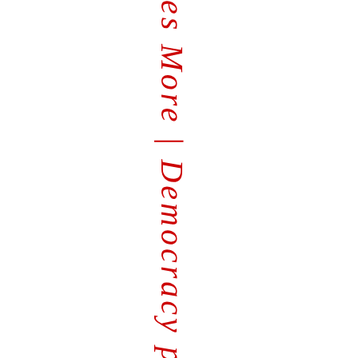es More | Democracy psNow - Th